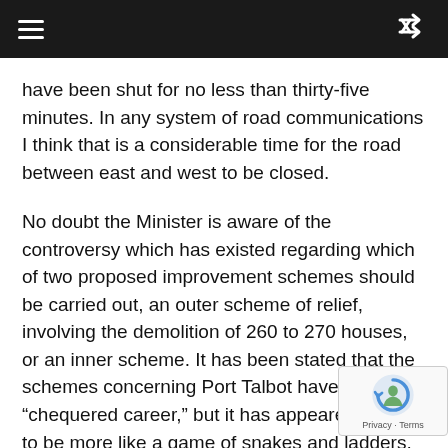≡  ⇌
have been shut for no less than thirty-five minutes. In any system of road communications I think that is a considerable time for the road between east and west to be closed.
No doubt the Minister is aware of the controversy which has existed regarding which of two proposed improvement schemes should be carried out, an outer scheme of relief, involving the demolition of 260 to 270 houses, or an inner scheme. It has been stated that the schemes concerning Port Talbot have had a "chequered career," but it has appeared to me to be more like a game of snakes and ladders, with no one winning. Even though the Minister decided as far back as November, 195 that the outer scheme should be carried out fi st,